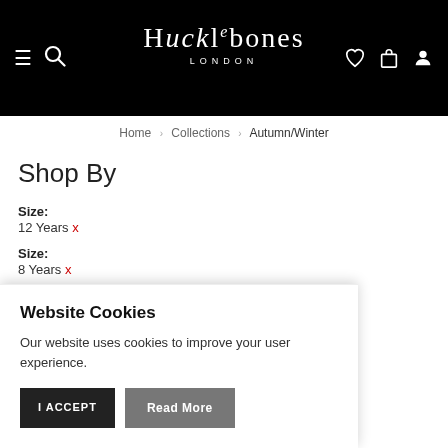Hucklbones London — navigation header with hamburger menu, search, wishlist, bag, and account icons
[Figure (logo): Hucklbones London logo in white serif text on black background]
Home > Collections > Autumn/Winter
Shop By
Size:
12 Years x
Size:
8 Years x
Website Cookies
Our website uses cookies to improve your user experience.
I ACCEPT   Read More